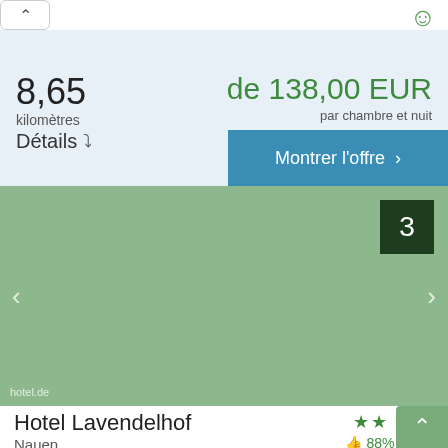8,65 kilomètres
de 138,00 EUR par chambre et nuit
Détails
Montrer l'offre >
[Figure (photo): Hotel photo placeholder — green/sage colored image area with navigation arrows and badge showing photo number 3, watermarked hotel.de]
Hotel Lavendelhof
Nauen
88%